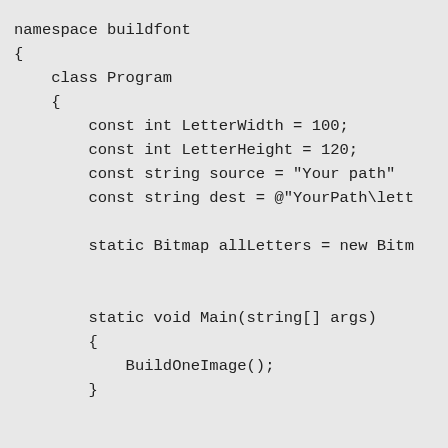namespace buildfont
{
    class Program
    {
        const int LetterWidth = 100;
        const int LetterHeight = 120;
        const string source = "Your path"
        const string dest = @"YourPath\lett

        static Bitmap allLetters = new Bitm


        static void Main(string[] args)
        {
            BuildOneImage();
        }


        private static void BuildOneImage()